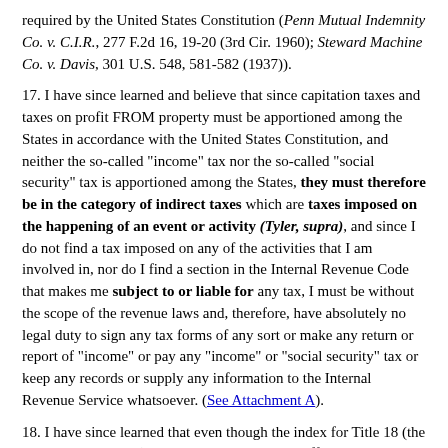required by the United States Constitution (Penn Mutual Indemnity Co. v. C.I.R., 277 F.2d 16, 19-20 (3rd Cir. 1960); Steward Machine Co. v. Davis, 301 U.S. 548, 581-582 (1937)).
17. I have since learned and believe that since capitation taxes and taxes on profit FROM property must be apportioned among the States in accordance with the United States Constitution, and neither the so-called "income" tax nor the so-called "social security" tax is apportioned among the States, they must therefore be in the category of indirect taxes which are taxes imposed on the happening of an event or activity (Tyler, supra), and since I do not find a tax imposed on any of the activities that I am involved in, nor do I find a section in the Internal Revenue Code that makes me subject to or liable for any tax, I must be without the scope of the revenue laws and, therefore, have absolutely no legal duty to sign any tax forms of any sort or make any return or report of "income" or pay any "income" or "social security" tax or keep any records or supply any information to the Internal Revenue Service whatsoever. (See Attachment A).
18. I have since learned that even though the index for Title 18 (the U.S. Criminal Code) lists crimes applicable to offenses involving firearms taxes, liquor taxes and tobacco taxes, no criminal offenses are listed for "income" taxes. Under the entries for the categories of federal alcohol, firearms and tobacco taxes, each